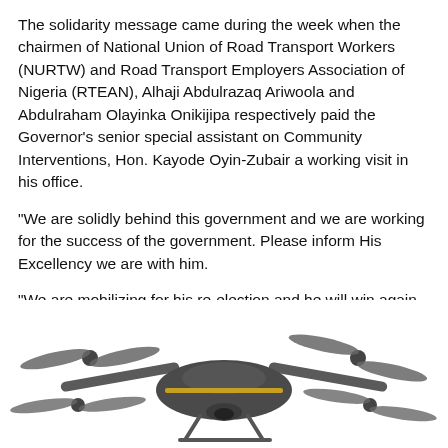The solidarity message came during the week when the chairmen of National Union of Road Transport Workers (NURTW) and Road Transport Employers Association of Nigeria (RTEAN), Alhaji Abdulrazaq Ariwoola and Abdulraham Olayinka Onikijipa respectively paid the Governor's senior special assistant on Community Interventions, Hon. Kayode Oyin-Zubair a working visit in his office.
“We are solidly behind this government and we are working for the success of the government. Please inform His Excellency we are with him.
“We are mobilizing for his re-election and he will win again Insha Allah. We must thank him for touching every aspect of human life. He deserves our support anyday.”
[Figure (photo): A DJI-style quadcopter drone photographed from below/front angle against a white background, showing grey body with gold accent stripe and four propellers extended.]